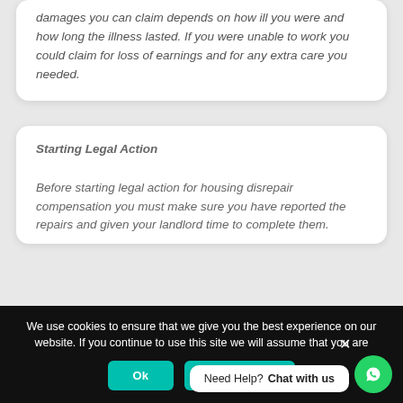damages you can claim depends on how ill you were and how long the illness lasted. If you were unable to work you could claim for loss of earnings and for any extra care you needed.
Starting Legal Action
Before starting legal action for housing disrepair compensation you must make sure you have reported the repairs and given your landlord time to complete them.
We use cookies to ensure that we give you the best experience on our website. If you continue to use this site we will assume that you are